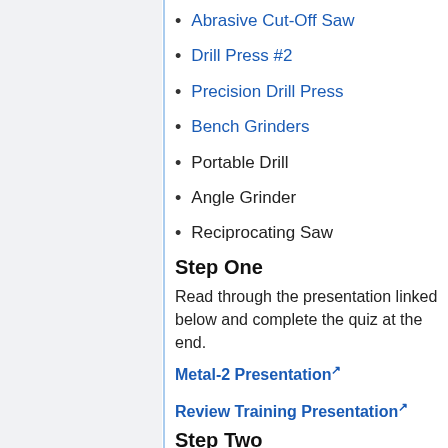Abrasive Cut-Off Saw
Drill Press #2
Precision Drill Press
Bench Grinders
Portable Drill
Angle Grinder
Reciprocating Saw
Step One
Read through the presentation linked below and complete the quiz at the end.
Metal-2 Presentation [external link]
Review Training Presentation [external link]
Step Two
Complete the following design to demonstrate your ability to use the